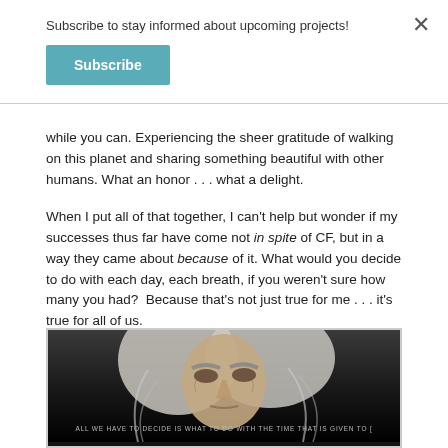Subscribe to stay informed about upcoming projects!
Subscribe
while you can. Experiencing the sheer gratitude of walking on this planet and sharing something beautiful with other humans. What an honor . . . what a delight.
When I put all of that together, I can't help but wonder if my successes thus far have come not in spite of CF, but in a way they came about because of it. What would you decide to do with each day, each breath, if you weren't sure how many you had?  Because that's not just true for me . . . it's true for all of us.
[Figure (photo): Dark cinematic image of an elderly man with long white/grey hair, resembling a wizard figure. Text at bottom reads: ALL WE HAVE TO DECIDE IS WHAT TO DO WITH THE TIME THAT IS GIVEN TO [US]]